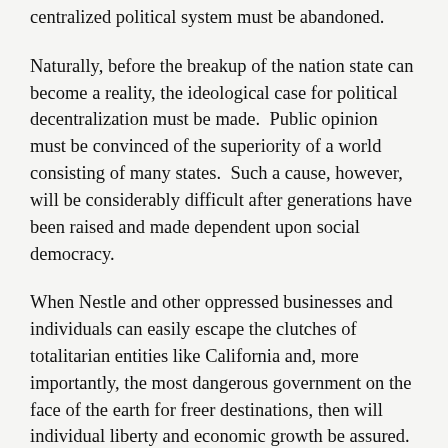centralized political system must be abandoned.
Naturally, before the breakup of the nation state can become a reality, the ideological case for political decentralization must be made.  Public opinion must be convinced of the superiority of a world consisting of many states.  Such a cause, however, will be considerably difficult after generations have been raised and made dependent upon social democracy.
When Nestle and other oppressed businesses and individuals can easily escape the clutches of totalitarian entities like California and, more importantly, the most dangerous government on the face of the earth for freer destinations, then will individual liberty and economic growth be assured.
*Terry Jones, “Another Big Company Departs California – Will Last One to Leave Shut the Lights?”  Investor's Business Daily. February 3, 2017